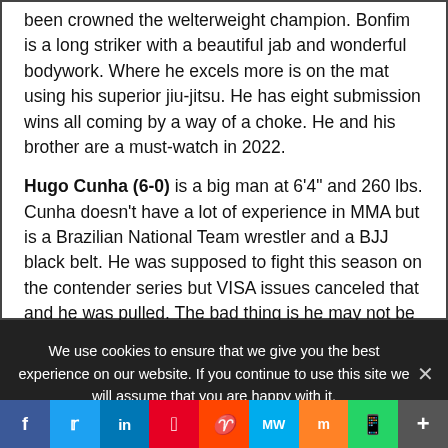been crowned the welterweight champion. Bonfim is a long striker with a beautiful jab and wonderful bodywork. Where he excels more is on the mat using his superior jiu-jitsu. He has eight submission wins all coming by a way of a choke. He and his brother are a must-watch in 2022.
Hugo Cunha (6-0) is a big man at 6'4" and 260 lbs. Cunha doesn't have a lot of experience in MMA but is a Brazilian National Team wrestler and a BJJ black belt. He was supposed to fight this season on the contender series but VISA issues canceled that and he was pulled. The bad thing is he may not be signed this year. The good thing is booking him on the contender series shows
We use cookies to ensure that we give you the best experience on our website. If you continue to use this site we will assume that you are happy with it.